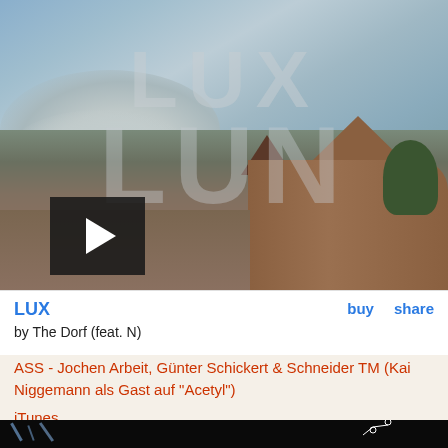[Figure (screenshot): Music player screenshot showing a painting of Dutch buildings with large watermark text overlay reading LUX/N, stormy sky with clouds, with a play button in lower left. Below is an info bar showing 'LUX' title, 'buy' and 'share' links, and 'by The Dorf (feat. N)'.]
ASS - Jochen Arbeit, Günter Schickert & Schneider TM (Kai Niggemann als Gast auf "Acetyl")
iTunes
[Figure (photo): Dark background with light streaks on left side and a chemical structure diagram (aspirin/acetylsalicylic acid molecule) on the right side showing OH and CH3 groups.]